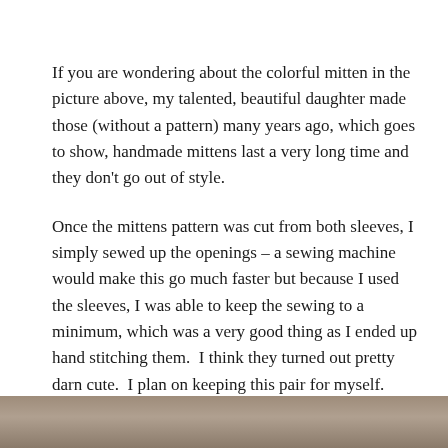If you are wondering about the colorful mitten in the picture above, my talented, beautiful daughter made those (without a pattern) many years ago, which goes to show, handmade mittens last a very long time and they don't go out of style.
Once the mittens pattern was cut from both sleeves, I simply sewed up the openings – a sewing machine would make this go much faster but because I used the sleeves, I was able to keep the sewing to a minimum, which was a very good thing as I ended up hand stitching them.  I think they turned out pretty darn cute.  I plan on keeping this pair for myself.
[Figure (photo): Partial view of a photograph at the bottom of the page, showing what appears to be an outdoor or craft-related scene in muted brown/tan tones.]